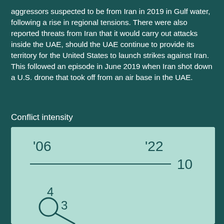aggressors suspected to be from Iran in 2019 in Gulf water, following a rise in regional tensions. There were also reported threats from Iran that it would carry out attacks inside the UAE, should the UAE continue to provide its territory for the United States to launch strikes against Iran. This followed an episode in June 2019 when Iran shot down a U.S. drone that took off from an air base in the UAE.
Conflict intensity
[Figure (line-chart): A line chart showing conflict intensity from 2006 to 2022, with a horizontal baseline around intensity 10 and data points near 3 and 4 at the lower left.]